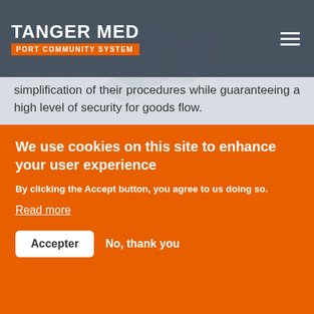TANGER MED PORT COMMUNITY SYSTEM
in parallel with the extended eligibility for customs declarations. these companies will benefit from a simplification of their procedures while guaranteeing a high level of security for goods flow.
- Documentary digitization by integrating the electronic signature of documents (Integration of documents directly at the portal and simplified
We use cookies on this site to enhance your user experience
By clicking the Accept button, you agree to us doing so.
Read more
Accepter   No, thank you